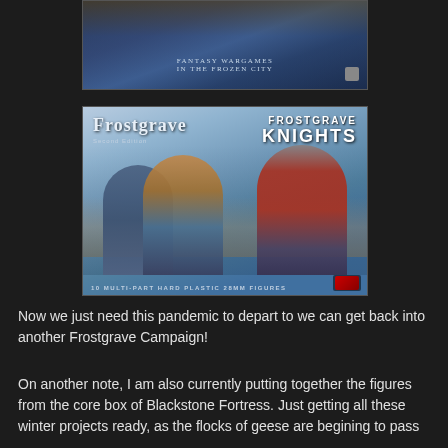[Figure (photo): Partial view of a Frostgrave book cover showing text 'FANTASY WARGAMES IN THE FROZEN CITY' on a blue fantasy-themed background]
[Figure (photo): Photo of Frostgrave Knights box set - Second Edition. Shows two armored knights on a blue snowy background. Text reads 'FROSTGRAVE FROSTGRAVE KNIGHTS Second Edition' and '10 MULTI-PART HARD PLASTIC 28MM FIGURES']
Now we just need this pandemic to depart to we can get back into another Frostgrave Campaign!
On another note, I am also currently putting together the figures from the core box of Blackstone Fortress. Just getting all these winter projects ready, as the flocks of geese are begining to pass